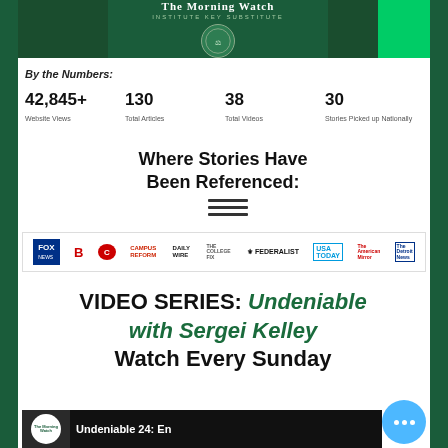[Figure (logo): The Morning Watch logo banner with dark green background and circular emblem]
By the Numbers:
42,845+ Website Views | 130 Total Articles | 38 Total Videos | 30 Stories Picked up Nationally
Where Stories Have Been Referenced:
[Figure (infographic): Row of media outlet logos: Fox News, Breitbart, Daily Caller, Campus Reform, Daily Wire, The College Fix, The Federalist, USA Today, The American Mirror, The Detroit News]
VIDEO SERIES: Undeniable with Sergei Kelley Watch Every Sunday
[Figure (screenshot): Video thumbnail showing The Morning Watch logo and text 'Undeniable 24: En']